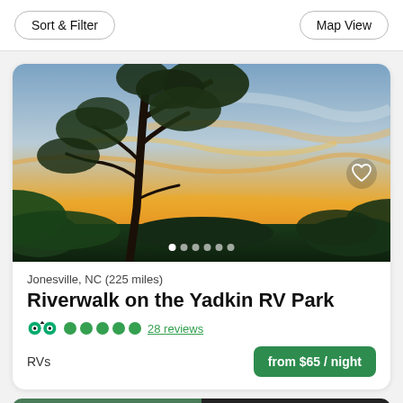Sort & Filter    Map View
[Figure (photo): Sunset photo with silhouette of a large tree against an orange and blue sky, taken at Riverwalk on the Yadkin RV Park.]
Jonesville, NC (225 miles)
Riverwalk on the Yadkin RV Park
28 reviews
RVs
from $65 / night